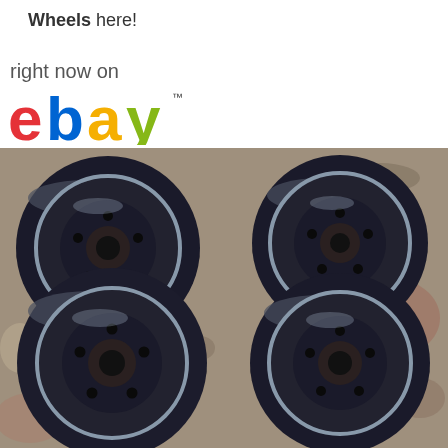Wheels here!
right now on
[Figure (logo): eBay logo with trademark symbol — 'e' in red, 'b' in blue, 'a' in yellow, 'y' in green]
[Figure (photo): Four black steel car wheels/rims arranged in a 2x2 grid on a concrete/gravel surface]